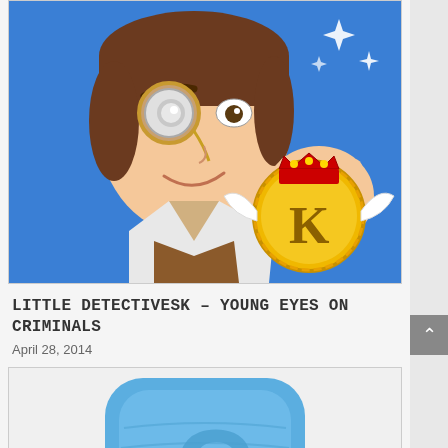[Figure (screenshot): App icon for Little DetectivesK showing a cartoon detective character holding a magnifying glass and a golden coin/medallion with K letter, on a blue sparkly background with rounded corners]
LITTLE DETECTIVESK – YOUNG EYES ON CRIMINALS
April 28, 2014
[Figure (screenshot): App icon showing a blue rounded square with a stylized letter C or scroll design in lighter blue on blue background]